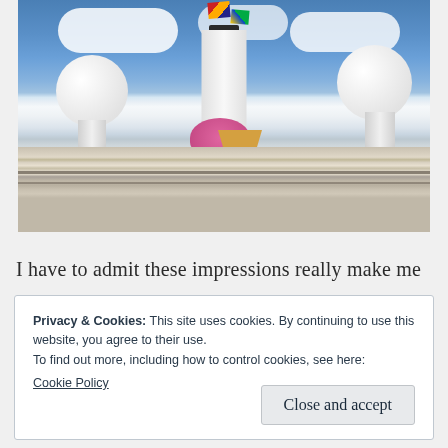[Figure (photo): Cruise ship deck viewed from below, showing white satellite communication domes, a central funnel/chimney with colorful signal flags, an ice cream cone prop, pink balloon/inflatable, deck railings with gold/tan wood trim, against a blue sky with white clouds]
I have to admit these impressions really make me
Privacy & Cookies: This site uses cookies. By continuing to use this website, you agree to their use.
To find out more, including how to control cookies, see here:
Cookie Policy
Close and accept